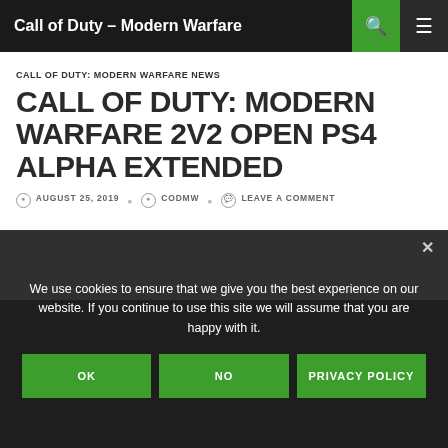Call of Duty – Modern Warfare
CALL OF DUTY: MODERN WARFARE NEWS
CALL OF DUTY: MODERN WARFARE 2V2 OPEN PS4 ALPHA EXTENDED
AUGUST 25, 2019  CODMW  LEAVE A COMMENT
[Figure (photo): Call of Duty Modern Warfare Alpha promotional image with soldier and game logo]
We use cookies to ensure that we give you the best experience on our website. If you continue to use this site we will assume that you are happy with it.
OK  NO  PRIVACY POLICY